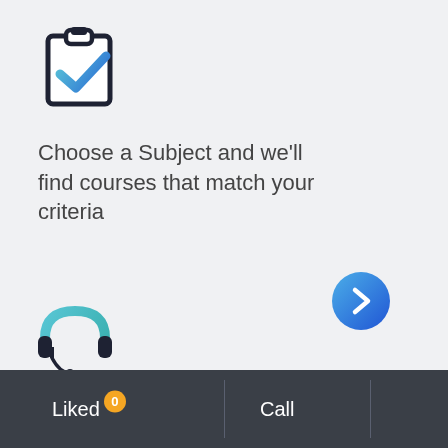[Figure (illustration): Clipboard icon with a blue checkmark, dark outline style]
Choose a Subject and we'll find courses that match your criteria
[Figure (illustration): Blue circular button with a right-pointing chevron arrow]
[Figure (illustration): Headset / support operator icon with teal and dark colors]
Liked 0  Call